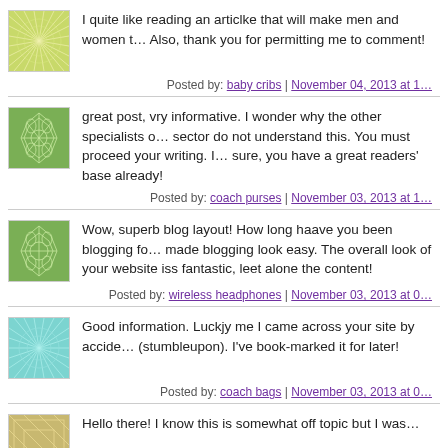I quite like reading an articlke that will make men and women t… Also, thank you for permitting me to comment!
Posted by: baby cribs | November 04, 2013 at 1…
great post, vry informative. I wonder why the other specialists o… sector do not understand this. You must proceed your writing. I… sure, you have a great readers' base already!
Posted by: coach purses | November 03, 2013 at 1…
Wow, superb blog layout! How long haave you been blogging fo… made blogging look easy. The overall look of your website iss… fantastic, leet alone the content!
Posted by: wireless headphones | November 03, 2013 at 0…
Good information. Luckjy me I came across your site by accide… (stumbleupon). I've book-marked it for later!
Posted by: coach bags | November 03, 2013 at 0…
[Figure (illustration): User avatar with green/yellow sunburst pattern]